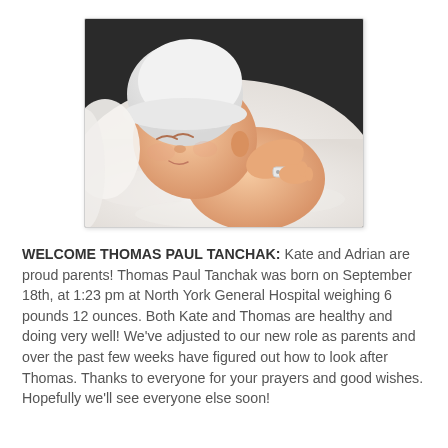[Figure (photo): A sleeping newborn baby wearing a white knit hat, lying on a white fluffy surface, with a hospital ID bracelet on the wrist.]
WELCOME THOMAS PAUL TANCHAK: Kate and Adrian are proud parents! Thomas Paul Tanchak was born on September 18th, at 1:23 pm at North York General Hospital weighing 6 pounds 12 ounces. Both Kate and Thomas are healthy and doing very well! We've adjusted to our new role as parents and over the past few weeks have figured out how to look after Thomas. Thanks to everyone for your prayers and good wishes. Hopefully we'll see everyone else soon!